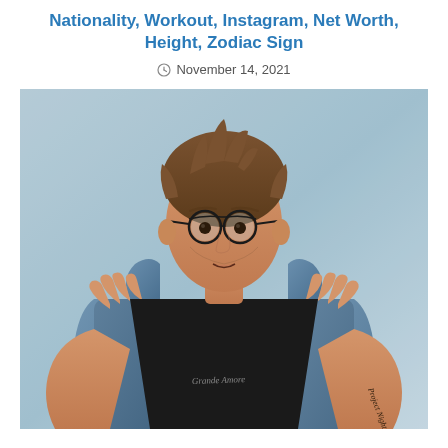Nationality, Workout, Instagram, Net Worth, Height, Zodiac Sign
November 14, 2021
[Figure (photo): Young man with styled brown hair, round black glasses, wearing a black t-shirt with 'Grande Amore' text and a distressed denim vest, hands raised to collar, visible arm tattoo reading 'Project Nightfall', against a light blue wall background]